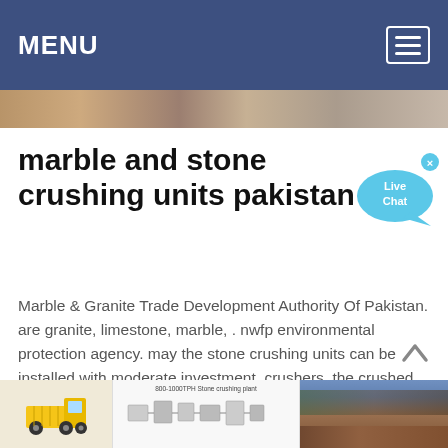MENU
[Figure (photo): Partial photo strip visible below the navigation header]
marble and stone crushing units pakistan
[Figure (illustration): Live Chat speech bubble icon in blue, with an x close button]
Marble & Granite Trade Development Authority Of Pakistan. are granite, limestone, marble, . nwfp environmental protection agency. may the stone crushing units can be installed with moderate investment .crushers, the crushed stones are sent for screening .
[Figure (screenshot): Bottom strip showing three images: yellow dump truck illustration, stone crushing plant diagram labeled 800-1000TPH Stone crushing plant, and a landscape photo of a mining site]